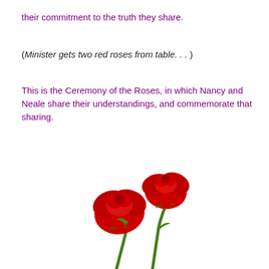their commitment to the truth they share.
(Minister gets two red roses from table. . . )
This is the Ceremony of the Roses, in which Nancy and Neale share their understandings, and commemorate that sharing.
[Figure (photo): Two red roses with green stems crossing each other against a white background.]